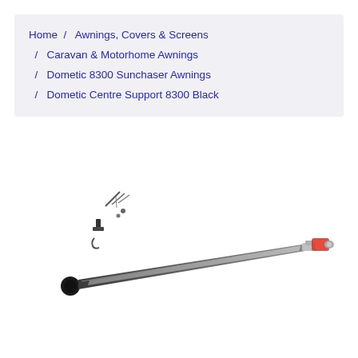Home / Awnings, Covers & Screens / Caravan & Motorhome Awnings / Dometic 8300 Sunchaser Awnings / Dometic Centre Support 8300 Black
[Figure (photo): Product photo of Dometic Centre Support 8300 Black — a long diagonal support pole with black hardware at the left end and a red/silver connector at the right end, with small mounting hardware pieces shown at upper left.]